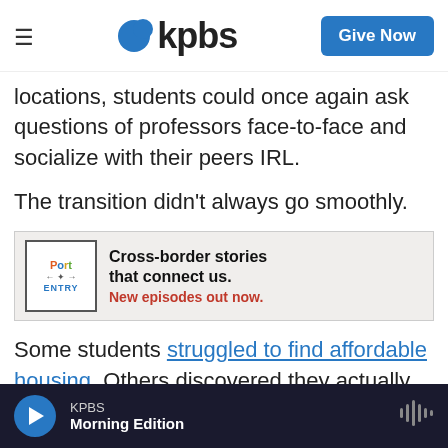KPBS — Give Now
locations, students could once again ask questions of professors face-to-face and socialize with their peers IRL.
The transition didn't always go smoothly.
[Figure (other): Advertisement banner for 'Port of Entry' podcast: Cross-border stories that connect us. New episodes out now.]
Some students struggled to find affordable housing. Others discovered they actually preferred online classes — especially when trying to juggle work with school. And policies around vaccines and other coronavirus safety
KPBS — Morning Edition (player bar)